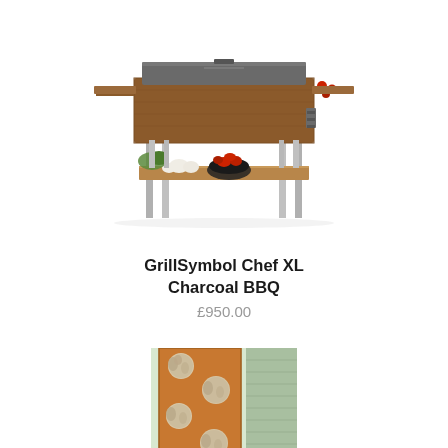[Figure (photo): A large rectangular charcoal BBQ grill with wooden side panels and lower shelf, standing on four metal legs. The shelf holds garlic, green herbs, and a dark bowl of tomatoes.]
GrillSymbol Chef XL Charcoal BBQ
£950.00
[Figure (photo): A tall vertical outdoor log store made of corten steel with circular cut-out holes, filled with logs and positioned against a green-painted wooden building exterior.]